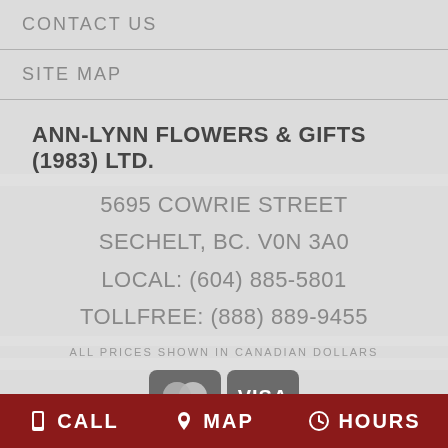CONTACT US
SITE MAP
ANN-LYNN FLOWERS & GIFTS (1983) LTD.
5695 COWRIE STREET
SECHELT, BC. V0N 3A0
LOCAL: (604) 885-5801
TOLLFREE: (888) 889-9455
ALL PRICES SHOWN IN CANADIAN DOLLARS
[Figure (logo): Mastercard and Visa payment icons]
CALL   MAP   HOURS